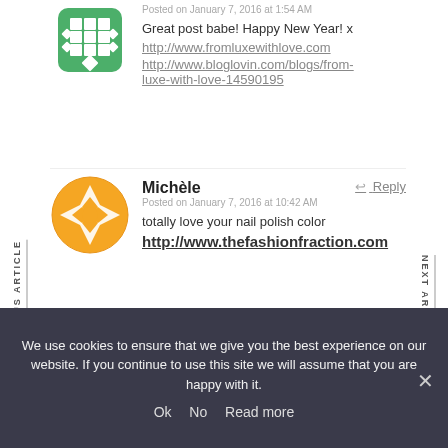[Figure (logo): Green decorative square grid avatar icon]
Posted on January 7, 2016 at 1:54 AM
Great post babe! Happy New Year! x
http://www.fromluxewithlove.com
http://www.bloglovin.com/blogs/from-luxe-with-love-14590195
PREVIOUS ARTICLE
NEXT ARTICLE
[Figure (logo): Orange circular mandala/geometric pattern avatar icon]
Michèle
Reply
Posted on January 7, 2016 at 10:42 AM
totally love your nail polish color
http://www.thefashionfraction.com
Leave a Reply
We use cookies to ensure that we give you the best experience on our website. If you continue to use this site we will assume that you are happy with it.
Ok   No   Read more